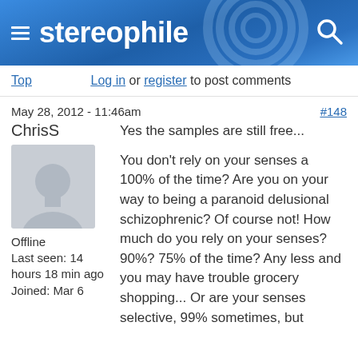stereophile
Top  Log in or register to post comments
May 28, 2012 - 11:46am  #148
ChrisS
Yes the samples are still free...
Offline
Last seen: 14 hours 18 min ago
Joined: Mar 6
You don't rely on your senses a 100% of the time? Are you on your way to being a paranoid delusional schizophrenic? Of course not! How much do you rely on your senses? 90%? 75% of the time? Any less and you may have trouble grocery shopping... Or are your senses selective, 99% sometimes, but